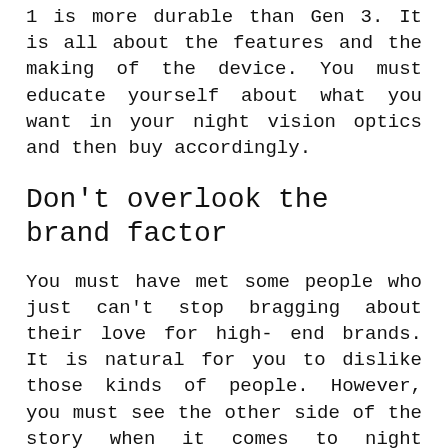1 is more durable than Gen 3. It is all about the features and the making of the device. You must educate yourself about what you want in your night vision optics and then buy accordingly.
Don't overlook the brand factor
You must have met some people who just can't stop bragging about their love for high-end brands. It is natural for you to dislike those kinds of people. However, you must see the other side of the story when it comes to night vision optics. In this case, brands are hyped because their products are worth it.
Buying night vision optics from your local shop won't be the wisest decision. So,